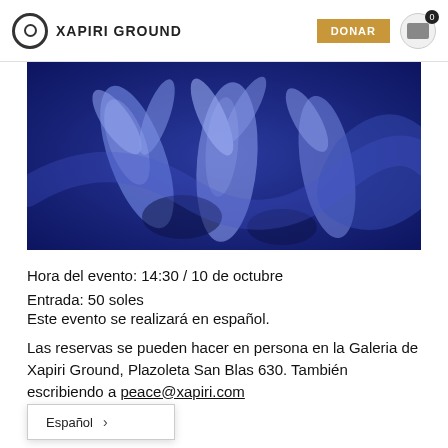XAPIRI GROUND
[Figure (photo): Blue-tinted dance performance photo showing figures with arms raised against dark background]
Hora del evento: 14:30 / 10 de octubre
Entrada: 50 soles
Este evento se realizará en español.
Las reservas se pueden hacer en persona en la Galeria de Xapiri Ground, Plazoleta San Blas 630. También escribiendo a peace@xapiri.com